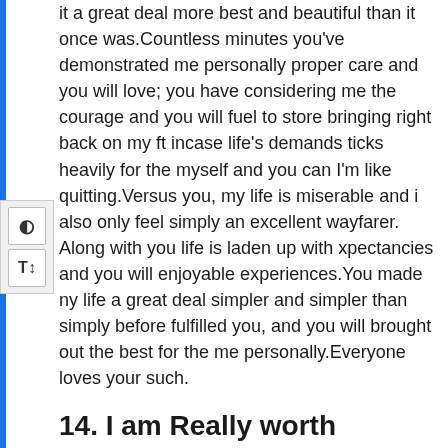it a great deal more best and beautiful than it once was.Countless minutes you've demonstrated me personally proper care and you will love; you have considering me the courage and you will fuel to store bringing right back on my ft incase life's demands ticks heavily for the myself and you can I'm like quitting.Versus you, my life is miserable and i also only feel simply an excellent wayfarer. Along with you life is laden up with xpectancies and you will enjoyable experiences.You made ny life a great deal simpler and simpler than simply before fulfilled you, and you will brought out the best for the me personally.Everyone loves your such.
14. I am Really worth Enjoying
Good morning Love,The moment I spotted you against afar out of, something within this me know one to extremely time that you would be an alternate person that tends to make myself love and laugh once again.We knew there was